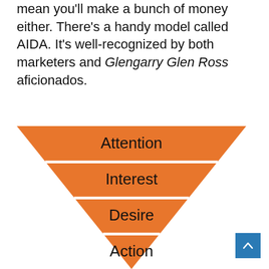mean you'll make a bunch of money either. There's a handy model called AIDA. It's well-recognized by both marketers and Glengarry Glen Ross aficionados.
[Figure (infographic): Inverted triangle/funnel diagram showing the AIDA model with four orange layers: Attention (top/widest), Interest, Desire, Action (bottom/narrowest)]